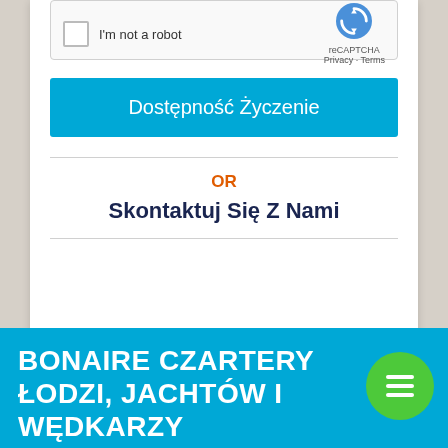[Figure (screenshot): reCAPTCHA widget with checkbox labeled 'I'm not a robot' and reCAPTCHA logo with Privacy and Terms links]
Dostępność Życzenie
OR
Skontaktuj Się Z Nami
BONAIRE CZARTERY ŁODZI, JACHTÓW I WĘDKARZY